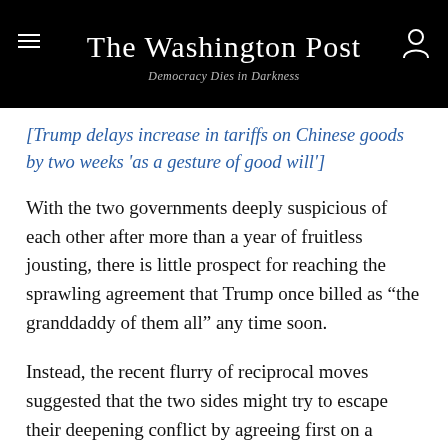The Washington Post
Democracy Dies in Darkness
[Trump delays increase in tariffs on Chinese goods by two weeks 'as a gesture of good will']
With the two governments deeply suspicious of each other after more than a year of fruitless jousting, there is little prospect for reaching the sprawling agreement that Trump once billed as “the granddaddy of them all” any time soon.
Instead, the recent flurry of reciprocal moves suggested that the two sides might try to escape their deepening conflict by agreeing first on a partial deal while